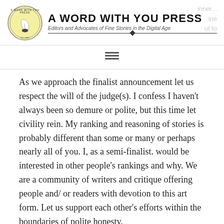A Word with You Press — Editors and Advocates of Fine Stories in the Digital Age
As we approach the finalist announcement let us respect the will of the judge(s). I confess I haven't always been so demure or polite, but this time let civility rein. My ranking and reasoning of stories is probably different than some or many or perhaps nearly all of you. I, as a semi-finalist. would be interested in other people's rankings and why. We are a community of writers and critique offering people and/ or readers with devotion to this art form. Let us support each other's efforts within the boundaries of polite honesty.